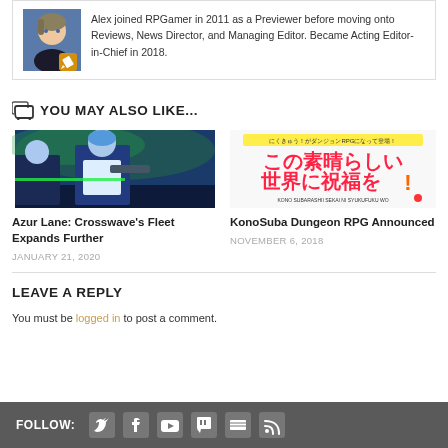[Figure (illustration): Anime character avatar with pencil/edit badge icon]
Alex joined RPGamer in 2011 as a Previewer before moving onto Reviews, News Director, and Managing Editor. Became Acting Editor-in-Chief in 2018.
YOU MAY ALSO LIKE...
[Figure (screenshot): Azur Lane: Crosswave game screenshot showing anime characters]
Azur Lane: Crosswave's Fleet Expands Further
JANUARY 21, 2020
[Figure (illustration): KonoSuba Dungeon RPG logo with Japanese text]
KonoSuba Dungeon RPG Announced
NOVEMBER 6, 2018
LEAVE A REPLY
You must be logged in to post a comment.
FOLLOW: [Twitter] [Facebook] [YouTube] [Twitch] [RSS]